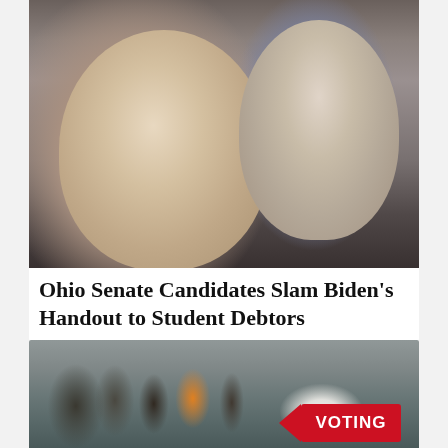[Figure (photo): Two men at what appears to be a graduation ceremony with crowd in the background. Man on left is smiling broadly, wearing a light gray jacket and white shirt with a beard. Man on right is older with gray hair, wearing a blue suit and pink/striped tie, looking serious.]
Ohio Senate Candidates Slam Biden's Handout to Student Debtors
[Figure (photo): People standing in line outdoors, viewed from behind, with a red VOTING sign visible on the right side of the image.]